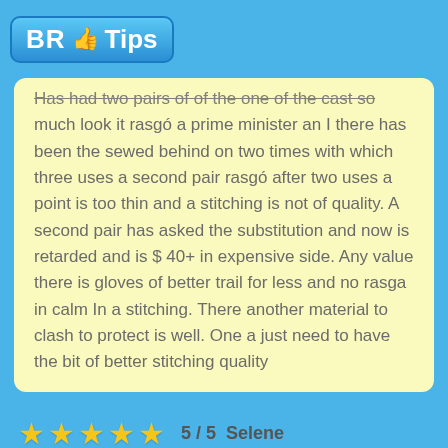[Figure (logo): BR Tips logo with thumbs up icon on blue rounded rectangle background]
Has had two pairs of of the one of the cast so much look it rasgó a prime minister an I there has been the sewed behind on two times with which three uses a second pair rasgó after two uses a point is too thin and a stitching is not of quality. A second pair has asked the substitution and now is retarded and is $ 40+ in expensive side. Any value there is gloves of better trail for less and no rasga in calm In a stitching. There another material to clash to protect is well. One a just need to have the bit of better stitching quality
5 / 5   Selene